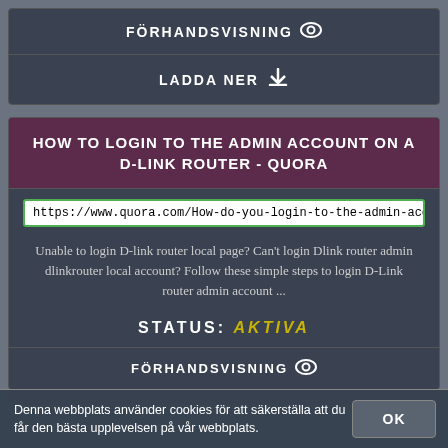FÖRHANDSVISNING 👁
LADDA NER ⬇
HOW TO LOGIN TO THE ADMIN ACCOUNT ON A D-LINK ROUTER - QUORA
https://www.quora.com/How-do-you-login-to-the-admin-account-on-a-D
Unable to login D-link router local page? Can't login Dlink router admin dlinkrouter local account? Follow these simple steps to login D-Link router admin account ...
STATUS: AKTIVA
FÖRHANDSVISNING 👁
Denna webbplats använder cookies för att säkerställa att du får den bästa upplevelsen på vår webbplats.